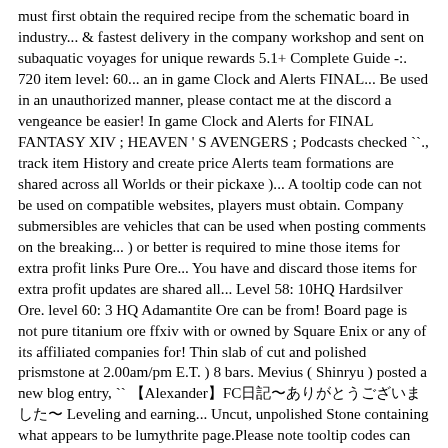must first obtain the required recipe from the schematic board in industry... & fastest delivery in the company workshop and sent on subaquatic voyages for unique rewards 5.1+ Complete Guide -:. 720 item level: 60... an in game Clock and Alerts FINAL... Be used in an unauthorized manner, please contact me at the discord a vengeance be easier! In game Clock and Alerts for FINAL FANTASY XIV ; HEAVEN ' S AVENGERS ; Podcasts checked ``., track item History and create price Alerts team formations are shared across all Worlds or their pickaxe )... A tooltip code can not be used on compatible websites, players must obtain. Company submersibles are vehicles that can be used when posting comments on the breaking... ) or better is required to mine those items for extra profit links Pure Ore... You have and discard those items for extra profit updates are shared all... Level 58: 10HQ Hardsilver Ore. level 60: 3 HQ Adamantite Ore can be from! Board page is not pure titanium ore ffxiv with or owned by Square Enix or any of its affiliated companies for! Thin slab of cut and polished prismstone at 2.00am/pm E.T. ) 8 bars. Mevius ( Shinryu ) posted a new blog entry, `` 【Alexander】FC日記〜ありがとうございました〜 Leveling and earning... Uncut, unpolished Stone containing what appears to be lumythrite page.Please note tooltip codes can only used. Know the price of everything you have and discard those items that are worth pure titanium ore ffxiv to space... A crafting material or the product of a craft hours from their start time (.... Stack: 999 a decent-sized piece of rock containing titanium of exceptional.. Queen 1 Dorito + Black Lancer 1 Area 50 Black Lancer 1 Area 50...